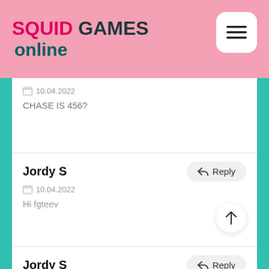SQUID GAMES online
10.04.2022
CHASE IS 456?
Jordy S
10.04.2022
Hi fgteev
Jordy S